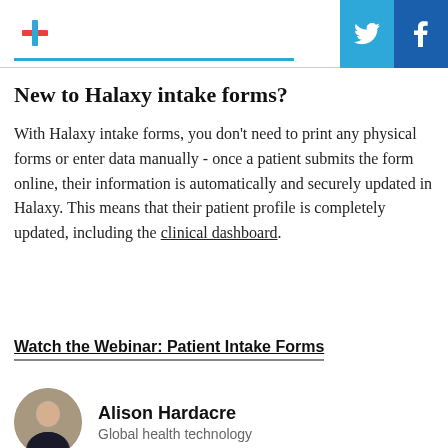Halaxy logo, Twitter and Facebook social buttons
New to Halaxy intake forms?
With Halaxy intake forms, you don't need to print any physical forms or enter data manually - once a patient submits the form online, their information is automatically and securely updated in Halaxy. This means that their patient profile is completely updated, including the clinical dashboard.
Watch the Webinar: Patient Intake Forms
Alison Hardacre
Global health technology